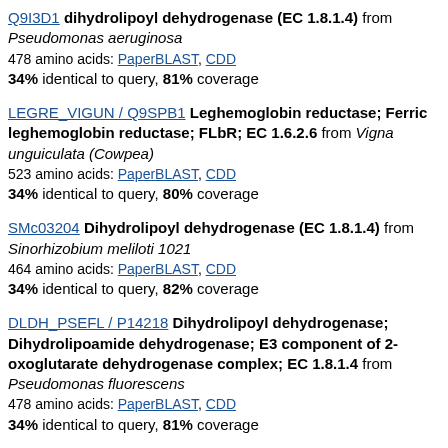Q9I3D1 dihydrolipoyl dehydrogenase (EC 1.8.1.4) from Pseudomonas aeruginosa
478 amino acids: PaperBLAST, CDD
34% identical to query, 81% coverage
LEGRE_VIGUN / Q9SPB1 Leghemoglobin reductase; Ferric leghemoglobin reductase; FLbR; EC 1.6.2.6 from Vigna unguiculata (Cowpea)
523 amino acids: PaperBLAST, CDD
34% identical to query, 80% coverage
SMc03204 Dihydrolipoyl dehydrogenase (EC 1.8.1.4) from Sinorhizobium meliloti 1021
464 amino acids: PaperBLAST, CDD
34% identical to query, 82% coverage
DLDH_PSEFL / P14218 Dihydrolipoyl dehydrogenase; Dihydrolipoamide dehydrogenase; E3 component of 2-oxoglutarate dehydrogenase complex; EC 1.8.1.4 from Pseudomonas fluorescens
478 amino acids: PaperBLAST, CDD
34% identical to query, 81% coverage
GI|1256717 dihydrolipoyl dehydrogenase; EC 1.8.1.4 from Pseudomonas putida
478 amino acids: PaperBLAST, CDD